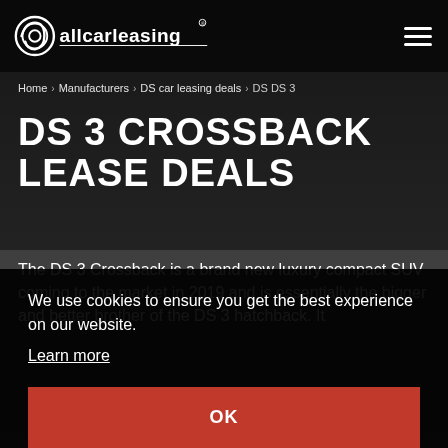allcarleasing
Home › Manufacturers › DS car leasing deals › DS DS 3
DS 3 CROSSBACK LEASE DEALS
The DS 3 Crossback is a brand new luxury compact SUV coming to the market in 2019 and is essentially the bigger and better brother of the DS 3 hatchback. It
We use cookies to ensure you get the best experience on our website.
Learn more
OK